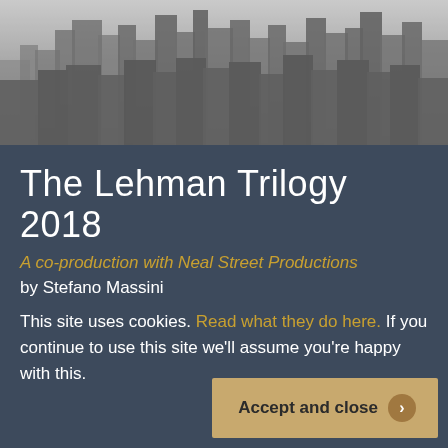[Figure (photo): Black and white photograph of a city skyline with tall skyscrapers in a hazy, overcast atmosphere]
The Lehman Trilogy 2018
A co-production with Neal Street Productions
by Stefano Massini
This site uses cookies. Read what they do here. If you continue to use this site we'll assume you're happy with this.
Accept and close